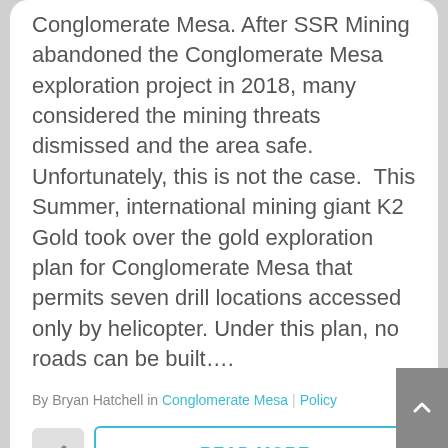Conglomerate Mesa. After SSR Mining abandoned the Conglomerate Mesa exploration project in 2018, many considered the mining threats dismissed and the area safe. Unfortunately, this is not the case.  This Summer, international mining giant K2 Gold took over the gold exploration plan for Conglomerate Mesa that permits seven drill locations accessed only by helicopter. Under this plan, no roads can be built….
By Bryan Hatchell in Conglomerate Mesa | Policy